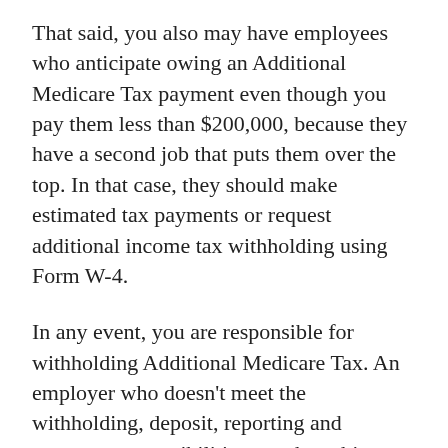That said, you also may have employees who anticipate owing an Additional Medicare Tax payment even though you pay them less than $200,000, because they have a second job that puts them over the top. In that case, they should make estimated tax payments or request additional income tax withholding using Form W-4.
In any event, you are responsible for withholding Additional Medicare Tax. An employer who doesn’t meet the withholding, deposit, reporting and payment responsibilities may be subject to applicable penalties.
This is just a summary of what can be a complex series of provisions. To make sure you’re on track with the withholding and remitting rules, work